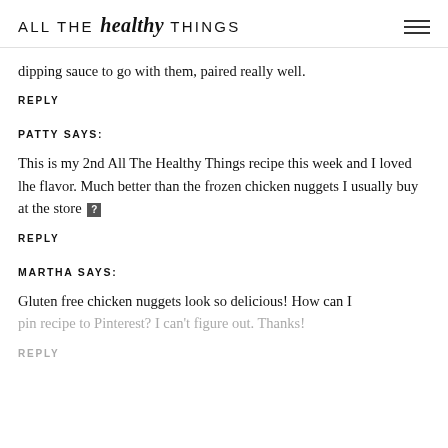ALL THE healthy THINGS
dipping sauce to go with them, paired really well.
REPLY
PATTY SAYS:
This is my 2nd All The Healthy Things recipe this week and I loved lhe flavor. Much better than the frozen chicken nuggets I usually buy at the store 🟫
REPLY
MARTHA SAYS:
Gluten free chicken nuggets look so delicious! How can I pin recipe to Pinterest? I can't figure out. Thanks!
REPLY